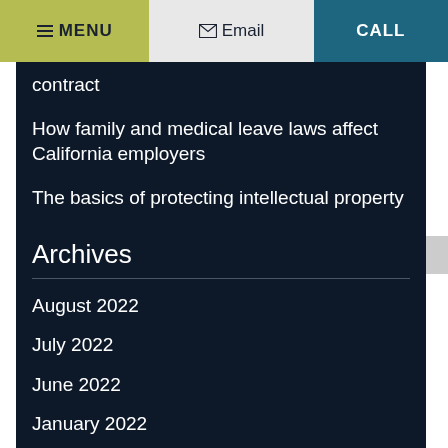MENU  Email  CALL
contract
How family and medical leave laws affect California employers
The basics of protecting intellectual property
Archives
August 2022
July 2022
June 2022
January 2022
June 2021